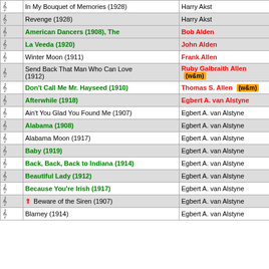|  | Title | Composer |
| --- | --- | --- |
| ♩ | In My Bouquet of Memories (1928) | Harry Akst |
| ♩ | Revenge (1928) | Harry Akst |
| ♩ | American Dancers (1908), The | Bob Alden |
| ♩ | La Veeda (1920) | John Alden |
| ♩ | Winter Moon (1911) | Frank Allen |
| ♩ | Send Back That Man Who Can Love (1912) | Ruby Galbraith Allen (w&m) |
| ♩ | Don't Call Me Mr. Hayseed (1910) | Thomas S. Allen (w&m) |
| ♩ | Afterwhile (1918) | Egbert A. van Alstyne |
| ♩ | Ain't You Glad You Found Me (1907) | Egbert A. van Alstyne |
| ♩ | Alabama (1908) | Egbert A. van Alstyne |
| ♩ | Alabama Moon (1917) | Egbert A. van Alstyne |
| ♩ | Baby (1919) | Egbert A. van Alstyne |
| ♩ | Back, Back, Back to Indiana (1914) | Egbert A. van Alstyne |
| ♩ | Beautiful Lady (1912) | Egbert A. van Alstyne |
| ♩ | Because You're Irish (1917) | Egbert A. van Alstyne |
| ♩ | ↑ Beware of the Siren (1907) | Egbert A. van Alstyne |
| ♩ | Blarney (1914) | Egbert A. van Alstyne |